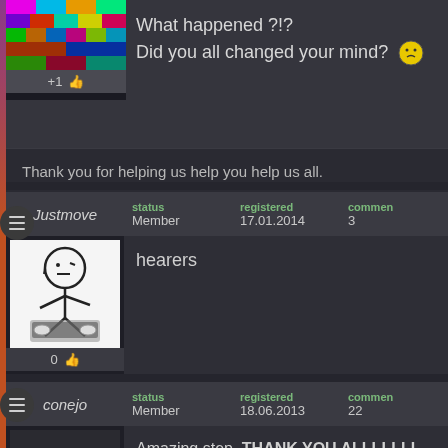[Figure (screenshot): Forum/comment thread interface with dark theme showing user posts]
What happened ?!?
Did you all changed your mind?
Thank you for helping us help you help us all.
Justmove | status: Member | registered: 17.01.2014 | comments: 3
hearers
conejo | status: Member | registered: 18.06.2013 | comments: 22
Amazing step. THANK YOU ALLLLLLL.